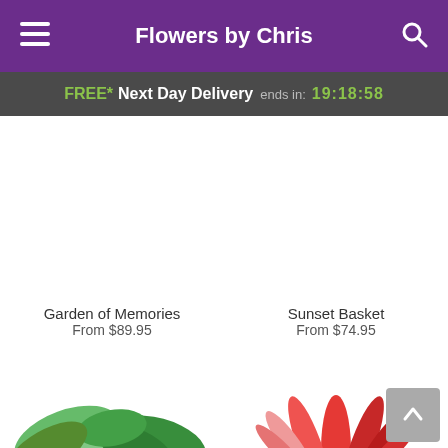Flowers by Chris
FREE* Next Day Delivery ends in: 19:18:58
[Figure (photo): Product image area for Garden of Memories (blank/white)]
Garden of Memories
From $89.95
[Figure (photo): Product image area for Sunset Basket (blank/white)]
Sunset Basket
From $74.95
[Figure (photo): Bottom-left partial product image showing green tropical plant leaves]
[Figure (photo): Bottom-right partial product image showing red bromeliad plant]